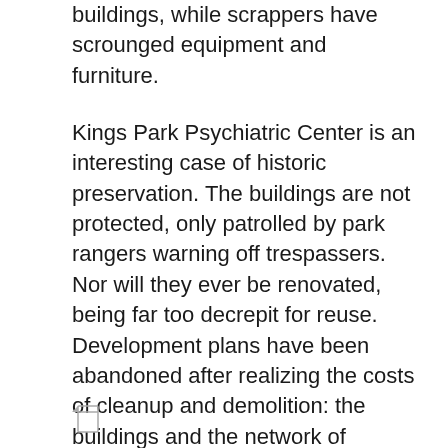buildings, while scrappers have scrounged equipment and furniture.
Kings Park Psychiatric Center is an interesting case of historic preservation. The buildings are not protected, only patrolled by park rangers warning off trespassers. Nor will they ever be renovated, being far too decrepit for reuse. Development plans have been abandoned after realizing the costs of cleanup and demolition: the buildings and the network of tunnels beneath them are lined with asbestos. For now, Kings Park will remain a decaying monument to the American mental health care system, open only to the explorers and risk takers eager to climb through the broken windows and step inside.